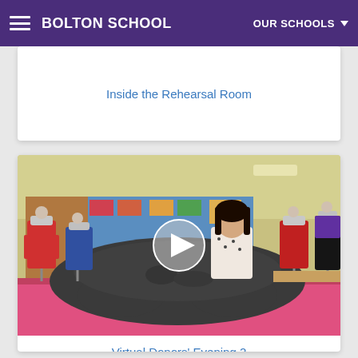BOLTON SCHOOL | OUR SCHOOLS
Inside the Rehearsal Room
[Figure (photo): Video thumbnail showing a classroom with costume mannequins on display. A young woman stands behind a large dark furry costume piece on a pink table. Blue bulletin boards and various costumes visible in the background. A play button overlay is visible in the center.]
Virtual Donors' Evening 2